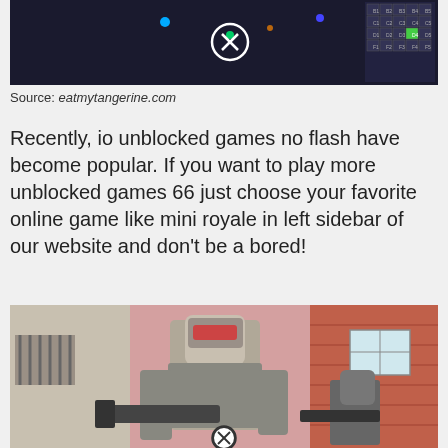[Figure (screenshot): Screenshot of an io/browser game interface with a dark background showing colored dots and a circled X symbol, plus a grid of labeled cells in the top-right corner]
Source: eatmytangerine.com
Recently, io unblocked games no flash have become popular. If you want to play more unblocked games 66 just choose your favorite online game like mini royale in left sidebar of our website and don't be a bored!
[Figure (screenshot): Screenshot of a 3D action game showing a cartoon-style armored character holding weapons in an urban environment with brick buildings, with a circled X at the bottom center]